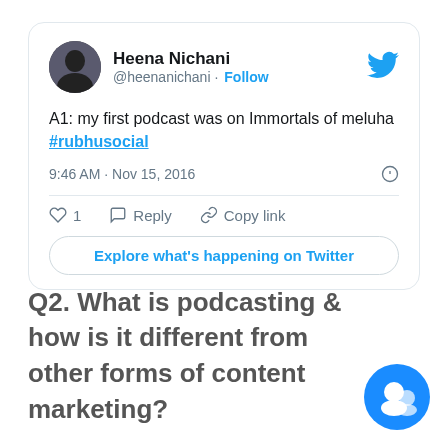[Figure (screenshot): Screenshot of a Twitter/X post by Heena Nichani (@heenanichani) with Follow button and Twitter bird icon. Tweet reads: 'A1: my first podcast was on Immortals of meluha #rubhusocial'. Timestamp: 9:46 AM · Nov 15, 2016. Actions: 1 like, Reply, Copy link. Button: Explore what's happening on Twitter.]
Q2. What is podcasting & how is it different from other forms of content marketing?